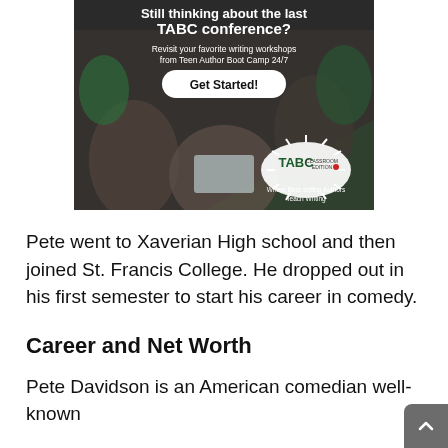[Figure (photo): TABC (Teen Author Boot Camp) Classroom Edition advertisement banner showing students in a writing workshop with text 'Still thinking about the last TABC conference? Revisit your favorite writing workshops from Teen Author Boot Camp 24/7' and a 'Get Started!' button. Bottom right shows TABC Classroom Edition logo with text 'Where Best-selling Authors Teach Writing'.]
Pete went to Xaverian High school and then joined St. Francis College. He dropped out in his first semester to start his career in comedy.
Career and Net Worth
Pete Davidson is an American comedian well-known